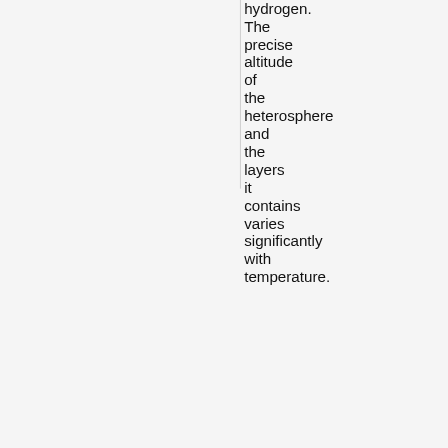hydrogen. The precise altitude of the heterosphere and the layers it contains varies significantly with temperature.